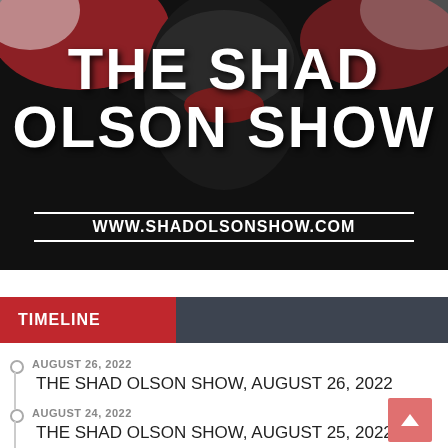[Figure (illustration): The Shad Olson Show banner image with dark background, partial face/flag imagery, large white bold text reading THE SHAD OLSON SHOW, and URL www.shadolsonshow.com]
TIMELINE
AUGUST 26, 2022
THE SHAD OLSON SHOW, AUGUST 26, 2022
AUGUST 24, 2022
THE SHAD OLSON SHOW, AUGUST 25, 2022